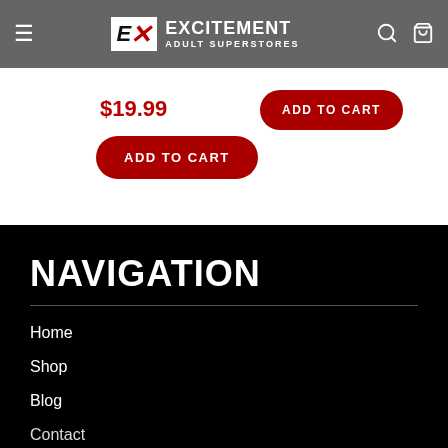[Figure (screenshot): Navigation bar with hamburger menu, Excitement Adult Superstores logo, search icon, and cart icon on dark gray background]
$19.99
ADD TO CART
ADD TO CART
NAVIGATION
Home
Shop
Blog
Contact